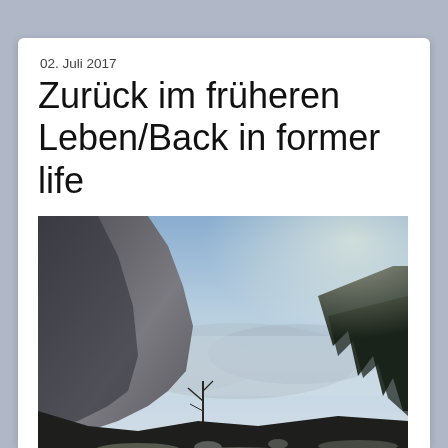02. Juli 2017
Zurück im früheren Leben/Back in former life
[Figure (photo): Mountain landscape photo showing a dramatic valley view with a large rock face on the left, conifer trees on the right, and misty mountains in the background under a pale blue sky. Foreground shows frost-covered brush and rocks.]
Nach gefühlten 2 Tagen sind wir am Abend des 14.